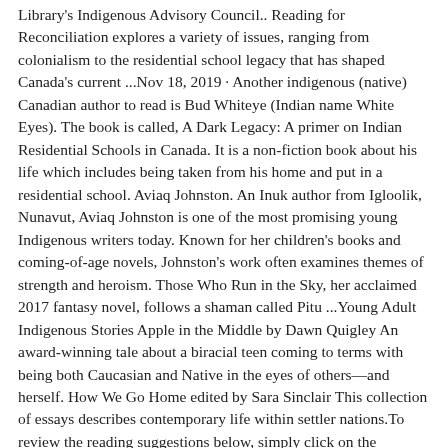Library's Indigenous Advisory Council.. Reading for Reconciliation explores a variety of issues, ranging from colonialism to the residential school legacy that has shaped Canada's current ...Nov 18, 2019 · Another indigenous (native) Canadian author to read is Bud Whiteye (Indian name White Eyes). The book is called, A Dark Legacy: A primer on Indian Residential Schools in Canada. It is a non-fiction book about his life which includes being taken from his home and put in a residential school. Aviaq Johnston. An Inuk author from Igloolik, Nunavut, Aviaq Johnston is one of the most promising young Indigenous writers today. Known for her children's books and coming-of-age novels, Johnston's work often examines themes of strength and heroism. Those Who Run in the Sky, her acclaimed 2017 fantasy novel, follows a shaman called Pitu ...Young Adult Indigenous Stories Apple in the Middle by Dawn Quigley An award-winning tale about a biracial teen coming to terms with being both Caucasian and Native in the eyes of others—and herself. How We Go Home edited by Sara Sinclair This collection of essays describes contemporary life within settler nations.To review the reading suggestions below, simply click on the category name and a drop-down list will appear. To close any category list, just click on the category name again. ... Decolonizing Methodologies: Research and Indigenous Peoples. New York: Zed Books, 2004. Trafzer, Clifford.Jun 23, 2022 · Author's Note: June is Pride Month and National Indigenous History Month in Canada. This month is important to...